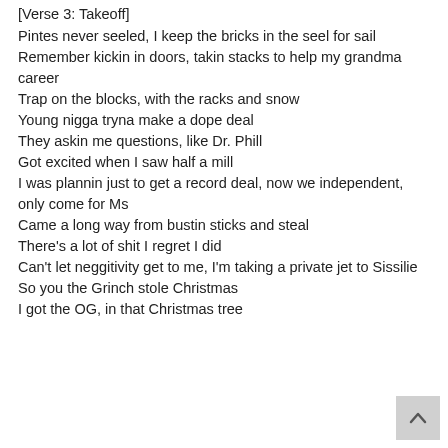[Verse 3: Takeoff]
Pintes never seeled, I keep the bricks in the seel for sail
Remember kickin in doors, takin stacks to help my grandma career
Trap on the blocks, with the racks and snow
Young nigga tryna make a dope deal
They askin me questions, like Dr. Phill
Got excited when I saw half a mill
I was plannin just to get a record deal, now we independent, only come for Ms
Came a long way from bustin sticks and steal
There's a lot of shit I regret I did
Can't let neggitivity get to me, I'm taking a private jet to Sissilie
So you the Grinch stole Christmas
I got the OG, in that Christmas tree